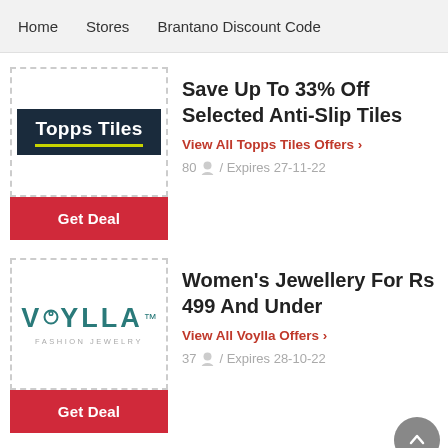Home   Stores   Brantano Discount Code
[Figure (logo): Topps Tiles logo - white text on dark navy background with yellow underline]
Get Deal
Save Up To 33% Off Selected Anti-Slip Tiles
View All Topps Tiles Offers ›
80 / Expires 27-11-22
[Figure (logo): Voylla Fashion Jewelry logo - teal text with ring icon]
Get Deal
Women's Jewellery For Rs 499 And Under
View All Voylla Offers ›
37 / Expires 28-10-22